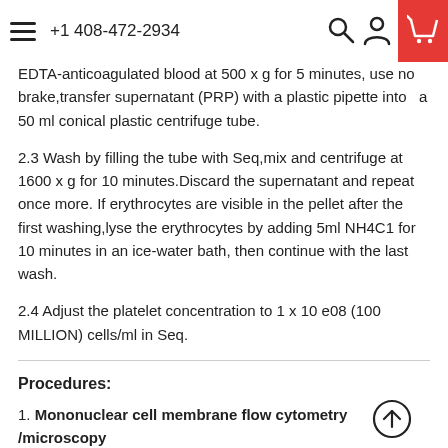+1 408-472-2934
EDTA-anticoagulated blood at 500 x g for 5 minutes, use no brake,transfer supernatant (PRP) with a plastic pipette into  a 50 ml conical plastic centrifuge tube.
2.3 Wash by filling the tube with Seq,mix and centrifuge at 1600 x g for 10 minutes.Discard the supernatant and repeat once more. If erythrocytes are visible in the pellet after the first washing,lyse the erythrocytes by adding 5ml NH4C1 for 10 minutes in an ice-water bath, then continue with the last wash.
2.4 Adjust the platelet concentration to 1 x 10 e08 (100 MILLION) cells/ml in Seq.
Procedures:
1. Mononuclear cell membrane flow cytometry /microscopy
1.1 Transfer 45 ul of the mononuclear cell suspension into